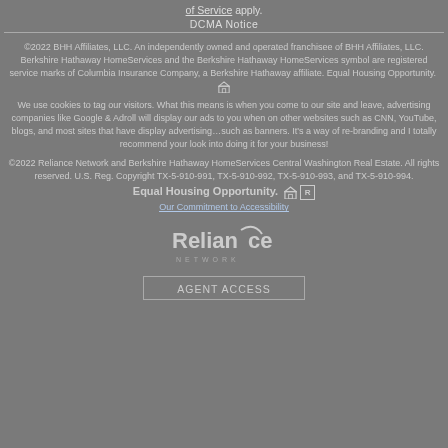of Service apply.
DCMA Notice
©2022 BHH Affiliates, LLC. An independently owned and operated franchisee of BHH Affiliates, LLC. Berkshire Hathaway HomeServices and the Berkshire Hathaway HomeServices symbol are registered service marks of Columbia Insurance Company, a Berkshire Hathaway affiliate. Equal Housing Opportunity.
We use cookies to tag our visitors. What this means is when you come to our site and leave, advertising companies like Google & Adroll will display our ads to you when on other websites such as CNN, YouTube, blogs, and most sites that have display advertising…such as banners. It's a way of re-branding and I totally recommend your look into doing it for your business!
©2022 Reliance Network and Berkshire Hathaway HomeServices Central Washington Real Estate. All rights reserved. U.S. Reg. Copyright TX-5-910-991, TX-5-910-992, TX-5-910-993, and TX-5-910-994.
Equal Housing Opportunity.
Our Commitment to Accessibility
[Figure (logo): Reliance Network logo in gray tones]
AGENT ACCESS